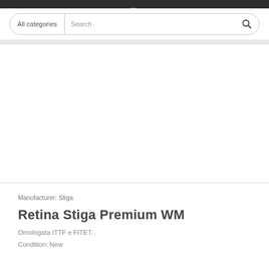[Figure (screenshot): E-commerce website header with dark top bar, search bar with 'All categories' dropdown and 'Search' placeholder, magnifier icon, and a shopping cart icon partially visible at center top]
Manufacturer: Stiga
Retina Stiga Premium WM
Omologata ITTF e FITET.
Condition: New